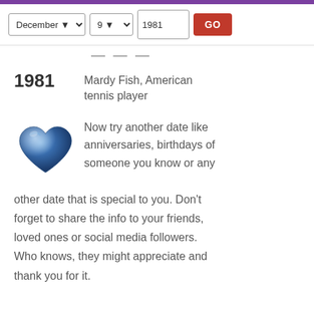December 9 1981 GO
1981
Mardy Fish, American tennis player
[Figure (illustration): Blue marble heart illustration]
Now try another date like anniversaries, birthdays of someone you know or any other date that is special to you. Don’t forget to share the info to your friends, loved ones or social media followers. Who knows, they might appreciate and thank you for it.